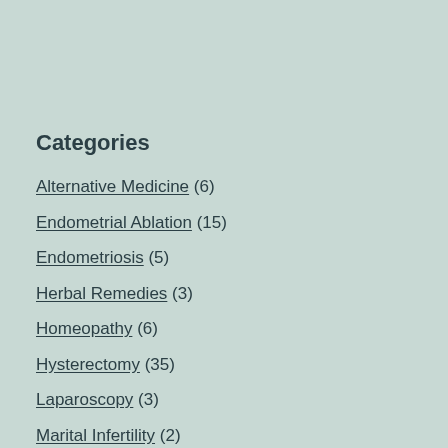Categories
Alternative Medicine (6)
Endometrial Ablation (15)
Endometriosis (5)
Herbal Remedies (3)
Homeopathy (6)
Hysterectomy (35)
Laparoscopy (3)
Marital Infertility (2)